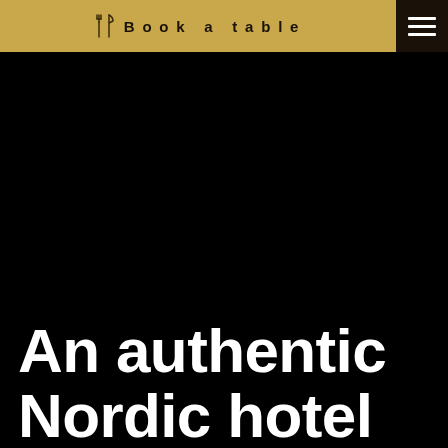Book a table
[Figure (screenshot): Dark black hero image area with no visible content]
An authentic Nordic hotel